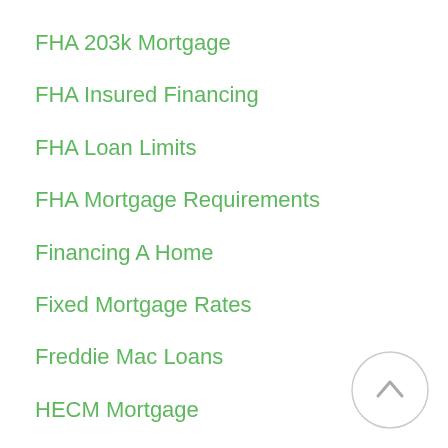FHA 203k Mortgage
FHA Insured Financing
FHA Loan Limits
FHA Mortgage Requirements
Financing A Home
Fixed Mortgage Rates
Freddie Mac Loans
HECM Mortgage
High Balance Loans
Home Equity Mortgage
Home Loan Mortgage